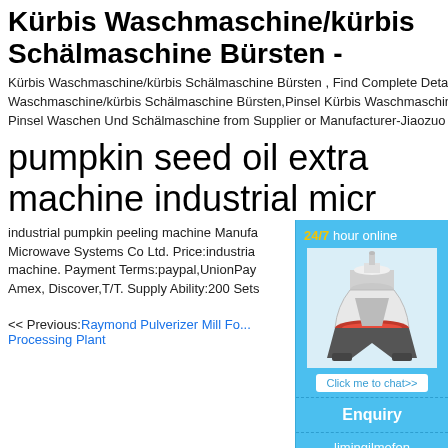Kürbis Waschmaschine/kürbis Schälmaschine Bürsten -
Kürbis Waschmaschine/kürbis Schälmaschine Bürsten , Find Complete Details about Kürbis Waschmaschine/kürbis Schälmaschine Bürsten,Pinsel Kürbis Waschmaschine,Kürbis Schälmaschine,Kürbis Pinsel Waschen Und Schälmaschine from Supplier or Manufacturer-Jiaozuo Zhoufeng Machinery Co., Ltd.
pumpkin seed oil extraction machine industrial micr
industrial pumpkin peeling machine Manufacturer Microwave Systems Co Ltd. Price:industrial machine. Payment Terms:paypal,UnionPay, Amex, Discover,T/T. Supply Ability:200 Sets
[Figure (screenshot): Sidebar advertisement with blue background showing '24/7 hour online' in gold/white text, an image of industrial cone crusher machinery, a 'Click me to chat>>' button, an 'Enquiry' section, and 'limingjlmofen' text.]
<< Previous:Raymond Pulverizer Mill For Processing Plant